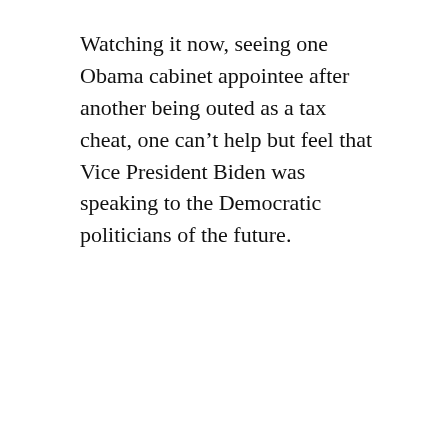Watching it now, seeing one Obama cabinet appointee after another being outed as a tax cheat, one can’t help but feel that Vice President Biden was speaking to the Democratic politicians of the future.